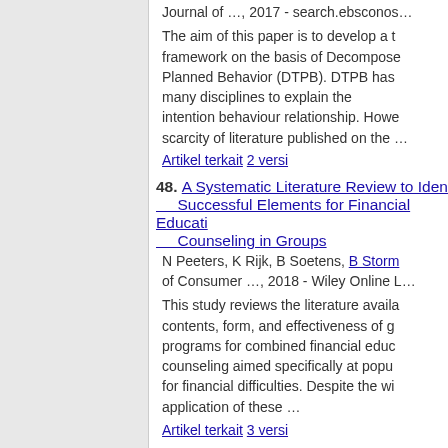Journal of …, 2017 - search.ebsconos…
The aim of this paper is to develop a t… framework on the basis of Decompose… Planned Behavior (DTPB). DTPB has … many disciplines to explain the intention behaviour relationship. Howe… scarcity of literature published on the …
Artikel terkait 2 versi
48. A Systematic Literature Review to Iden… Successful Elements for Financial Educati… Counseling in Groups
N Peeters, K Rijk, B Soetens, B Storm… of Consumer …, 2018 - Wiley Online L…
This study reviews the literature availa… contents, form, and effectiveness of g… programs for combined financial educ… counseling aimed specifically at popu… for financial difficulties. Despite the wi… application of these …
Artikel terkait 3 versi
49. Analysis of Factors Influencing Credit C… Ownership and Amount of Credit Card De…